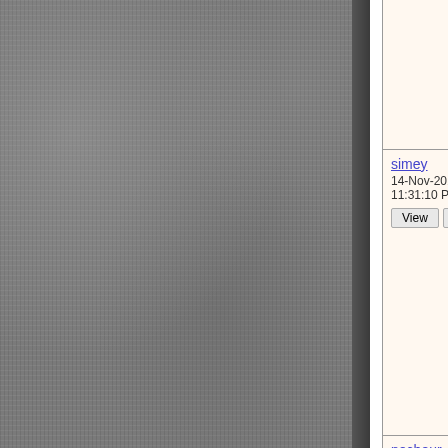| User | Message |
| --- | --- |
| (continued) | >above tests and t
>last saw you!?!? >
>Hopefully you're t
The last aid weeke snapped. Ha! |
| simey
14-Nov-2011
11:31:10 PM | Mikl neglected to n compared to the 1 still sparsely prote climbed by Mikl in poor failure rating. then took over and top-roped and retr

After these disapp campground which I can safely say tha to talk ourselves u |
| pecheur
15-Nov-2011
7:53:13 AM | On 14/11/2011 Ma >Hi Mikl
>> once agains the >here) at 5.5kN . . >
>Wouldn't this be t |